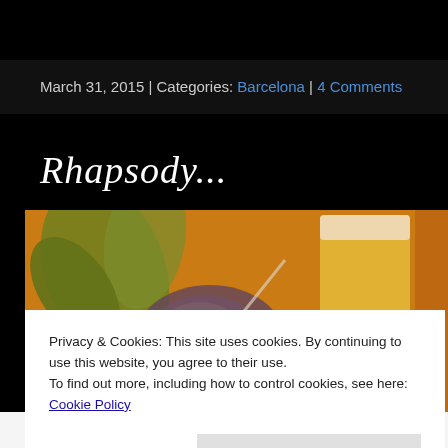March 31, 2015 | Categories: Barcelona | 4 Comments
Rhapsody...
[Figure (photo): Close-up photo of food (appears to be seafood/mussels) with a glass of beer in the background, warm golden tones]
Privacy & Cookies: This site uses cookies. By continuing to use this website, you agree to their use.
To find out more, including how to control cookies, see here: Cookie Policy
Close and accept
Follow